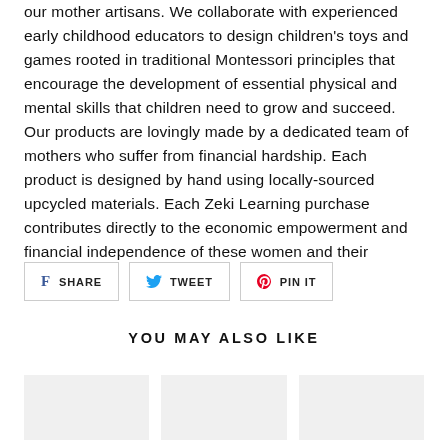our mother artisans. We collaborate with experienced early childhood educators to design children's toys and games rooted in traditional Montessori principles that encourage the development of essential physical and mental skills that children need to grow and succeed. Our products are lovingly made by a dedicated team of mothers who suffer from financial hardship. Each product is designed by hand using locally-sourced upcycled materials. Each Zeki Learning purchase contributes directly to the economic empowerment and financial independence of these women and their children.
[Figure (infographic): Three social sharing buttons: SHARE (Facebook), TWEET (Twitter), PIN IT (Pinterest)]
YOU MAY ALSO LIKE
[Figure (photo): Product thumbnail images in a row (partially visible)]